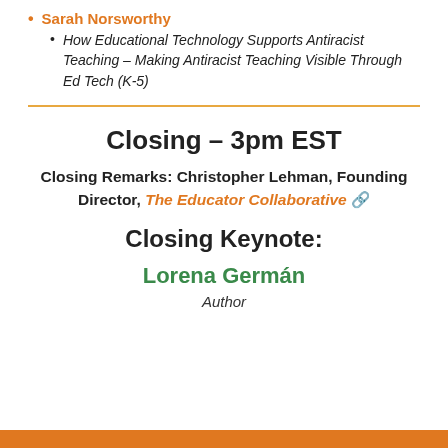Sarah Norsworthy
How Educational Technology Supports Antiracist Teaching – Making Antiracist Teaching Visible Through Ed Tech (K-5)
Closing – 3pm EST
Closing Remarks: Christopher Lehman, Founding Director, The Educator Collaborative 🔗
Closing Keynote:
Lorena Germán
Author